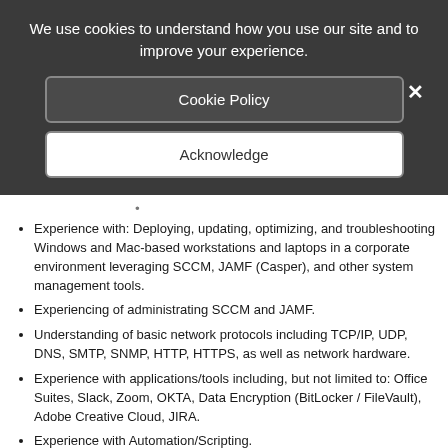We use cookies to understand how you use our site and to improve your experience.
Cookie Policy
Acknowledge
Experience with: Deploying, updating, optimizing, and troubleshooting Windows and Mac-based workstations and laptops in a corporate environment leveraging SCCM, JAMF (Casper), and other system management tools.
Experiencing of administrating SCCM and JAMF.
Understanding of basic network protocols including TCP/IP, UDP, DNS, SMTP, SNMP, HTTP, HTTPS, as well as network hardware.
Experience with applications/tools including, but not limited to: Office Suites, Slack, Zoom, OKTA, Data Encryption (BitLocker / FileVault), Adobe Creative Cloud, JIRA.
Experience with Automation/Scripting.